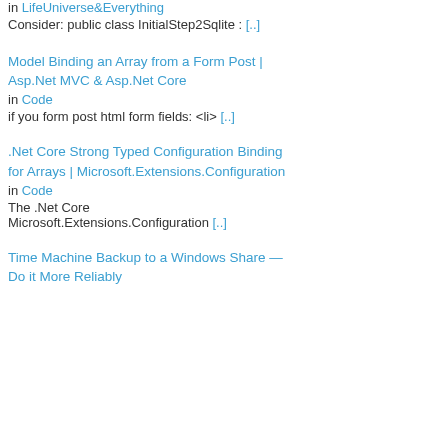in LifeUniverse&Everything
Consider: public class InitialStep2Sqlite : [..]
Model Binding an Array from a Form Post | Asp.Net MVC & Asp.Net Core
in Code
if you form post html form fields: <li> [..]
.Net Core Strong Typed Configuration Binding for Arrays | Microsoft.Extensions.Configuration
in Code
The .Net Core Microsoft.Extensions.Configuration [..]
Time Machine Backup to a Windows Share — Do it More Reliably